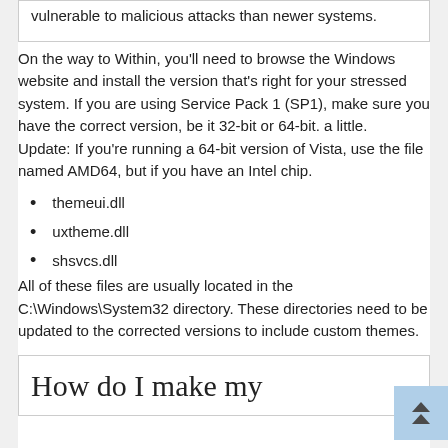vulnerable to malicious attacks than newer systems.
On the way to Within, you'll need to browse the Windows website and install the version that's right for your stressed system. If you are using Service Pack 1 (SP1), make sure you have the correct version, be it 32-bit or 64-bit. a little.
Update: If you're running a 64-bit version of Vista, use the file named AMD64, but if you have an Intel chip.
themeui.dll
uxtheme.dll
shsvcs.dll
All of these files are usually located in the C:\Windows\System32 directory. These directories need to be updated to the corrected versions to include custom themes.
How do I make my